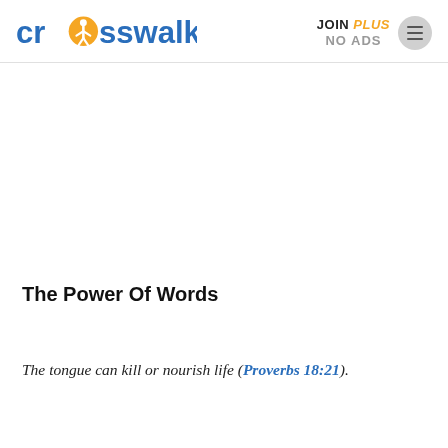crosswalk.com | JOIN PLUS NO ADS
The Power Of Words
The tongue can kill or nourish life (Proverbs 18:21).